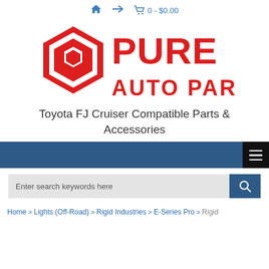Home icon | Arrow icon | Cart: 0 - $0.00
[Figure (logo): Pure Auto Parts logo — red hexagon icon and bold red text 'PURE AUTO PARTS' on white background]
Toyota FJ Cruiser Compatible Parts & Accessories
[Figure (screenshot): Dark blue navigation bar with black hamburger menu button on the right]
[Figure (screenshot): Search bar with gray input field showing placeholder text 'Enter search keywords here' and a dark blue search button with magnifying glass icon]
Home › Lights (Off-Road) › Rigid Industries › E-Series Pro › Rigid